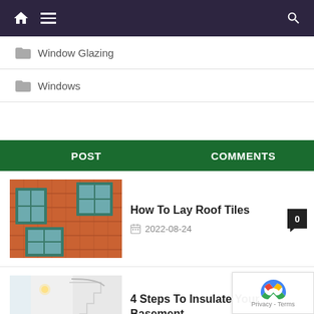Navigation bar with home, menu, and search icons
Window Glazing
Windows
POST | COMMENTS
[Figure (photo): Aerial view of orange roof tiles with green-framed dormer windows]
How To Lay Roof Tiles
2022-08-24
[Figure (photo): Modern white interior with spiral staircase and wooden floor]
4 Steps To Insulate Your Basement
2022-08-15